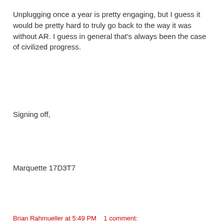Unplugging once a year is pretty engaging, but I guess it would be pretty hard to truly go back to the way it was without AR. I guess in general that's always been the case of civilized progress.
Signing off,
Marquette 17D3T7
Brian Rahmueller at 5:49 PM   1 comment: